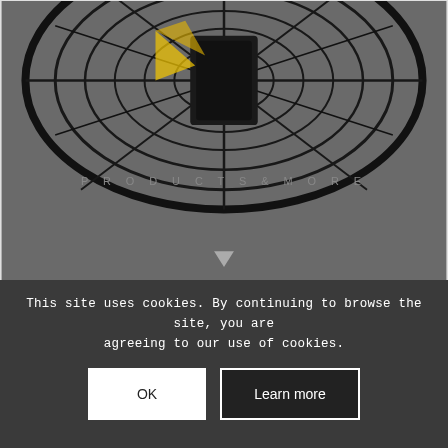[Figure (photo): Close-up photo of a black wire guard mounted axial fan, showing the circular wire grille and fan blade structure, with a yellow and black brand logo partially visible.]
GMC1-600B4-1, Paddle Blade Guard Mounted Axial, 600mm/60cm/24", 1Phase, Sucking, 4pole/1380rpm
£293.37 ex VAT
Add to basket
Show Details
Chat
This site uses cookies. By continuing to browse the site, you are agreeing to our use of cookies.
OK
Learn more